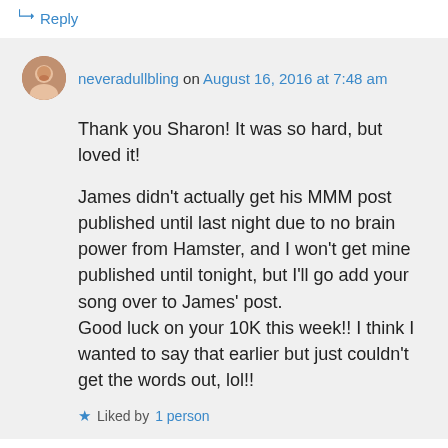↵ Reply
neveradullbling on August 16, 2016 at 7:48 am
Thank you Sharon! It was so hard, but loved it!

James didn't actually get his MMM post published until last night due to no brain power from Hamster, and I won't get mine published until tonight, but I'll go add your song over to James' post.
Good luck on your 10K this week!! I think I wanted to say that earlier but just couldn't get the words out, lol!!
Liked by 1 person